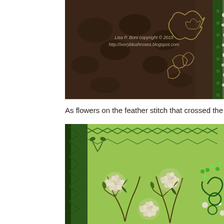[Figure (photo): Embroidery artwork showing floral and leaf designs on dark brown fabric with golden thread work and green beaded border. Watermark reads: Lisa P. Boni copyright © 2015 http://ivoryblushroses.blogspot.com]
As flowers on the feather stitch that crossed the photo.  Using
[Figure (photo): Close-up embroidery on green fabric showing white French knot flower clusters with dark green stem and leaf stitching, plus green beaded decorative elements on the right side.]